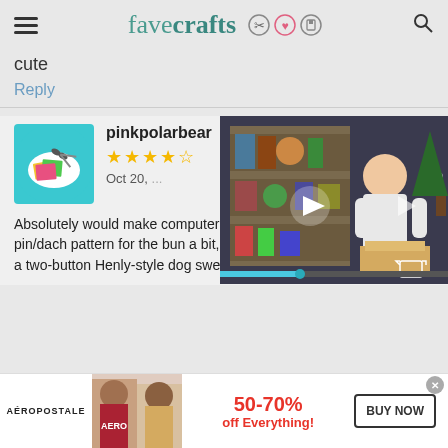favecrafts
cute
Reply
pinkpolarbear
★★★★☆
Oct 20,
[Figure (screenshot): Video player overlay showing a woman in a craft room with shelves of supplies]
Absolutely would make computer, will probably husband's min pin/dach pattern for the bun a bit, but I think it's cute. I just designed a two-button Henly-style dog sweater for him, gotta sew on the
[Figure (screenshot): Aeropostale advertisement banner showing 50-70% off Everything with BUY NOW button]